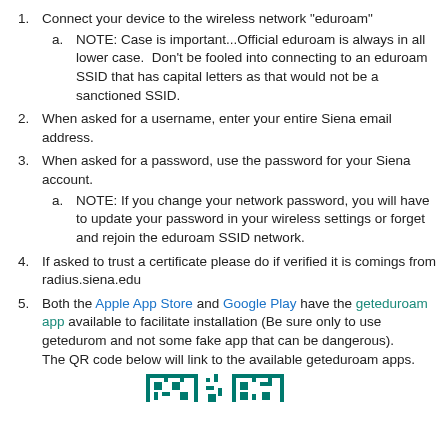Connect your device to the wireless network "eduroam"
NOTE: Case is important...Official eduroam is always in all lower case.  Don't be fooled into connecting to an eduroam SSID that has capital letters as that would not be a sanctioned SSID.
When asked for a username, enter your entire Siena email address.
When asked for a password, use the password for your Siena account.
NOTE: If you change your network password, you will have to update your password in your wireless settings or forget and rejoin the eduroam SSID network.
If asked to trust a certificate please do if verified it is comings from radius.siena.edu
Both the Apple App Store and Google Play have the geteduroam app available to facilitate installation (Be sure only to use getedurom and not some fake app that can be dangerous). The QR code below will link to the available geteduroam apps.
[Figure (other): Partial QR code image at bottom of page linking to geteduroam apps]